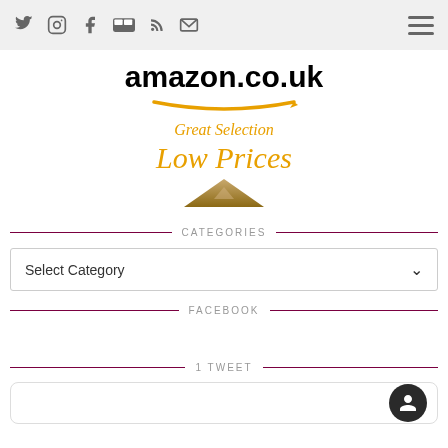Social icons: Twitter, Instagram, Facebook, Flickr, RSS, Mail; Hamburger menu
[Figure (advertisement): Amazon.co.uk advertisement with logo, orange arrow smile, 'Great Selection' and 'Low Prices' taglines in orange italic text, and a small pyramid image below]
CATEGORIES
Select Category
FACEBOOK
1 TWEET
[Figure (screenshot): Tweet widget box with dark circular avatar on the right side]